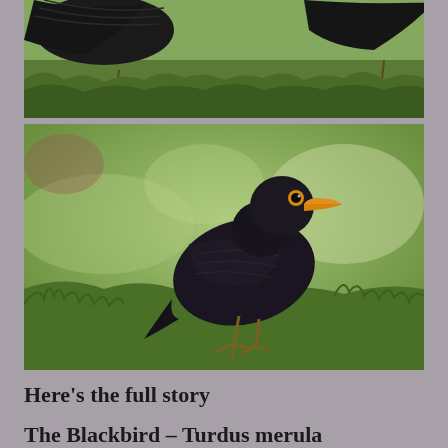[Figure (photo): Black birds on grass, viewed from above, partial crop showing wings and feet on green grass background]
[Figure (photo): A male blackbird (Turdus merula) standing on green grass, showing characteristic black plumage, bright orange-yellow beak, and yellow eye ring, facing left]
Here’s the full story
The Blackbird – Turdus merula